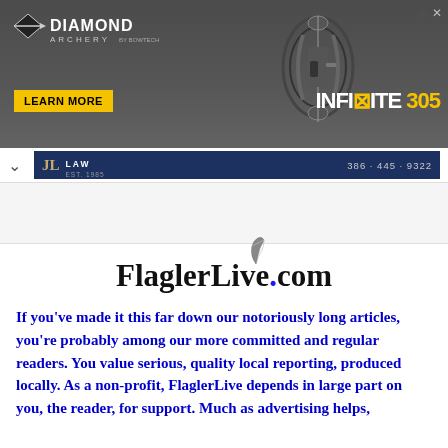[Figure (photo): Diamond Archery advertisement banner showing a compound bow (Infinite 305) with 'Learn More' button on dark background]
[Figure (photo): JL Law firm navigation banner with phone number 386-445-9322]
[Figure (photo): FlaglerLive.com website logo with pen illustration]
If you've made it this far down our notoriously long articles, you're probably among our more committed and regular readers. You value serious, quality local reporting, produced locally. As a non-profit, FlaglerLive depends in large part on you, the reader, for support. Much as advertising helps,